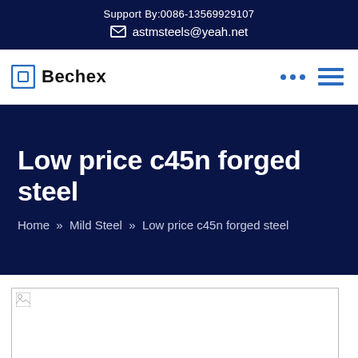Support By:0086-13569929107
astmsteels@yeah.net
[Figure (logo): Bechex logo with square icon]
Low price c45n forged steel
Home » Mild Steel » Low price c45n forged steel
[Figure (photo): Product image placeholder (broken image)]